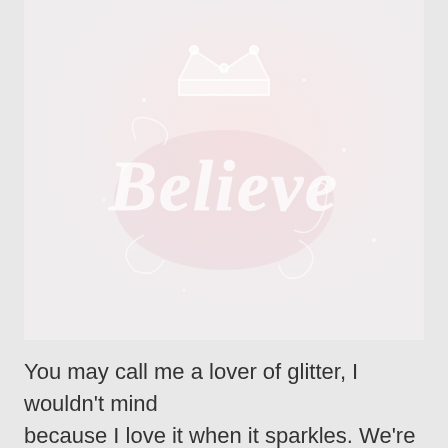[Figure (illustration): A light pinkish-white background image with a faint decorative calligraphic 'Believe' text with ornamental flourishes and a crown motif at the top center.]
You may call me a lover of glitter, I wouldn't mind because I love it when it sparkles. We're going to